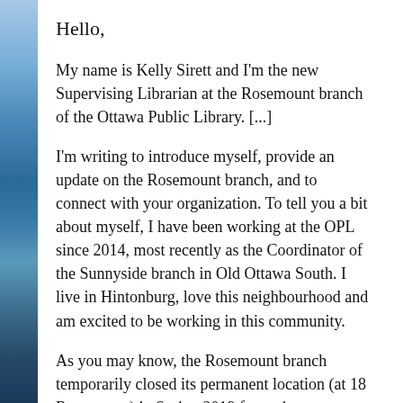Hello,
My name is Kelly Sirett and I'm the new Supervising Librarian at the Rosemount branch of the Ottawa Public Library. [...]
I'm writing to introduce myself, provide an update on the Rosemount branch, and to connect with your organization. To tell you a bit about myself, I have been working at the OPL since 2014, most recently as the Coordinator of the Sunnyside branch in Old Ottawa South. I live in Hintonburg, love this neighbourhood and am excited to be working in this community.
As you may know, the Rosemount branch temporarily closed its permanent location (at 18 Rosemount) in Spring 2019 for major renovations